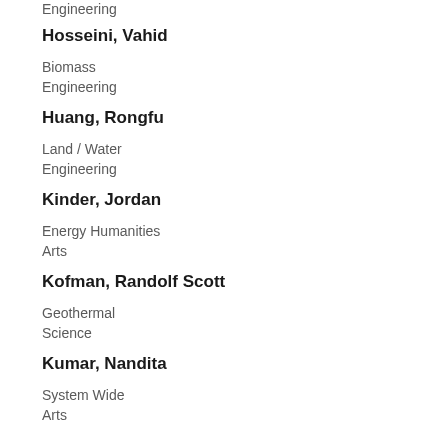Engineering
Hosseini, Vahid
Biomass
Engineering
Huang, Rongfu
Land / Water
Engineering
Kinder, Jordan
Energy Humanities
Arts
Kofman, Randolf Scott
Geothermal
Science
Kumar, Nandita
System Wide
Arts